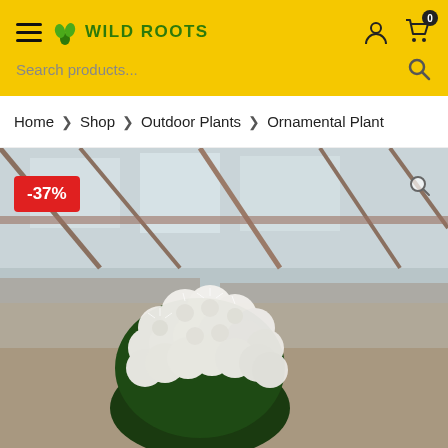Wild Roots — navigation header with search bar
Home > Shop > Outdoor Plants > Ornamental Plant
[Figure (photo): A blooming cactus covered in dense white fluffy flowers, photographed in a greenhouse with metal framework visible in the background. A red discount badge showing -37% is in the upper left corner.]